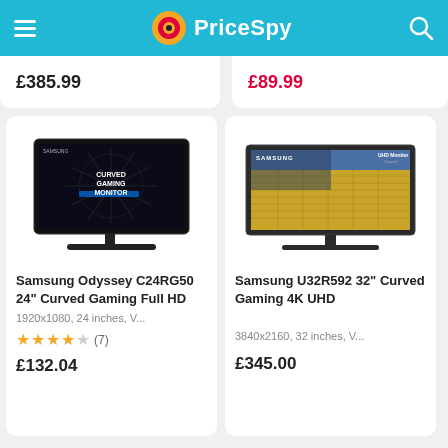PriceSpy
£385.99
£89.99
[Figure (photo): Samsung Odyssey C24RG50 curved gaming monitor product photo]
Samsung Odyssey C24RG50 24" Curved Gaming Full HD
1920x1080, 24 inches, V...
★★★★☆ (7)
£132.04
[Figure (photo): Samsung U32R592 32" Curved 4K UHD monitor product photo]
Samsung U32R592 32" Curved Gaming 4K UHD
3840x2160, 32 inches, V...
£345.00